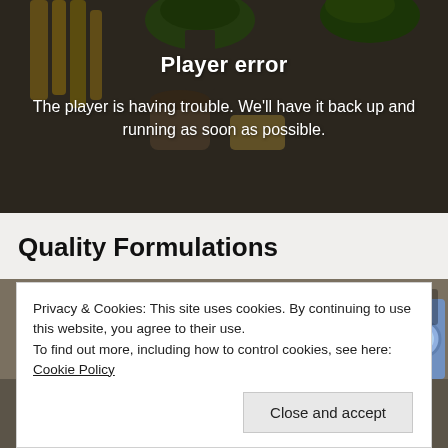[Figure (screenshot): Video player showing error state with food/vegetables in background, overlaid with dark semi-transparent gradient]
Player error
The player is having trouble. We'll have it back up and running as soon as possible.
Quality Formulations
[Figure (screenshot): Second video thumbnail showing a person near laundry machines and framed pictures on wall, with an X close button]
Privacy & Cookies: This site uses cookies. By continuing to use this website, you agree to their use.
To find out more, including how to control cookies, see here: Cookie Policy
Close and accept